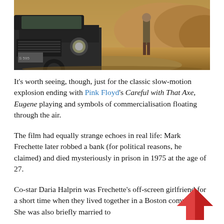[Figure (photo): A vintage dark car (old Chevrolet or similar) in a desert/rocky landscape with a person standing in the background near rock formations. Warm orange-brown tones.]
It's worth seeing, though, just for the classic slow-motion explosion ending with Pink Floyd's Careful with That Axe, Eugene playing and symbols of commercialisation floating through the air.
The film had equally strange echoes in real life: Mark Frechette later robbed a bank (for political reasons, he claimed) and died mysteriously in prison in 1975 at the age of 27.
Co-star Daria Halprin was Frechette's off-screen girlfriend for a short time when they lived together in a Boston commune. She was also briefly married to